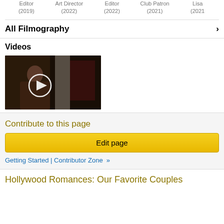Editor (2019) | Art Director (2022) | Editor (2022) | Club Patron (2021) | Lisa (2021)
All Filmography
Videos
[Figure (screenshot): Video thumbnail showing a person sitting indoors with dark tones and a play button overlay circle]
Contribute to this page
Edit page
Getting Started | Contributor Zone »
Hollywood Romances: Our Favorite Couples